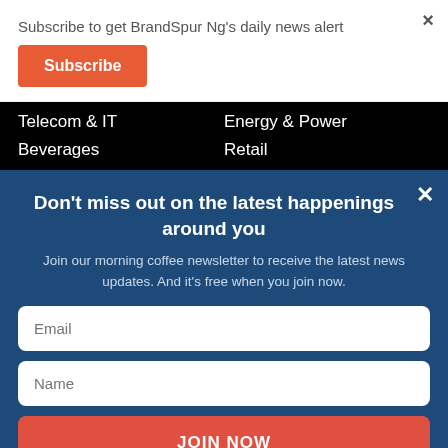Subscribe to get BrandSpur Ng's daily news alert
Subscribe
Telecom & IT
Energy & Power
Beverages
Retail
Don't miss out on the latest happenings around you
Join our morning coffee newsletter to receive the latest news updates. And it's free when you join now.
Email
Name
JOIN NOW